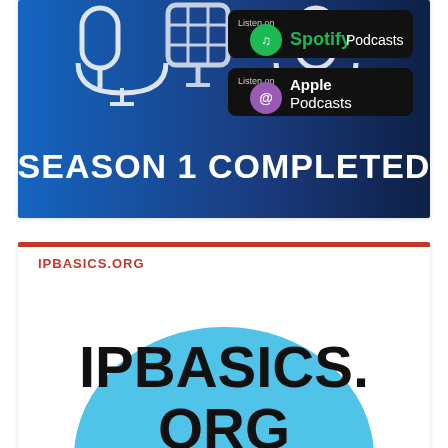[Figure (illustration): Podcast promotional banner with blue gradient background, microphone icons, Spotify Podcasts and Apple Podcasts badges, and text SEASON 1 COMPLETED in bold white letters]
IPBASICS.ORG
[Figure (logo): IPBASICS.ORG logo — large bold black text on a light blue circle background]